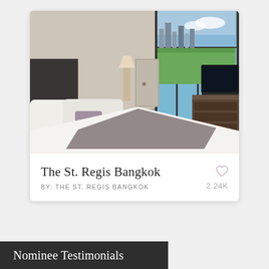[Figure (photo): Luxury hotel room at The St. Regis Bangkok featuring a large bed with white linens and gray decorative pillows, floor-to-ceiling glass windows with views of a green park and city skyline, a flat-screen TV on a dark wood dresser, and elegant interior design.]
The St. Regis Bangkok
BY: THE ST. REGIS BANGKOK
2.24K
Nominee Testimonials